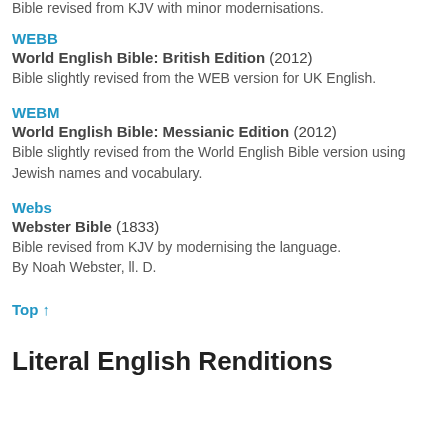Bible revised from KJV with minor modernisations.
WEBB
World English Bible: British Edition (2012)
Bible slightly revised from the WEB version for UK English.
WEBM
World English Bible: Messianic Edition (2012)
Bible slightly revised from the World English Bible version using Jewish names and vocabulary.
Webs
Webster Bible (1833)
Bible revised from KJV by modernising the language.
By Noah Webster, ll. D.
Top ↑
Literal English Renditions